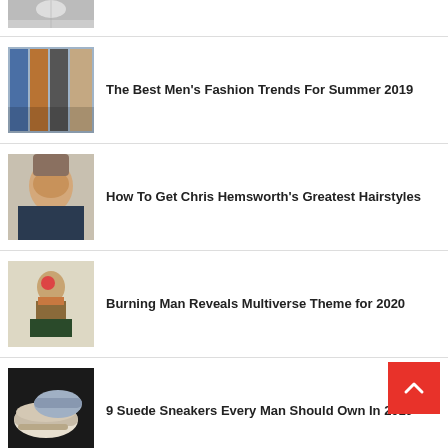[Figure (photo): Cropped photo of a man, only lower face and white shirt visible]
[Figure (photo): Group of male models on a fashion runway in various outfits]
The Best Men's Fashion Trends For Summer 2019
[Figure (photo): Chris Hemsworth smiling, close-up portrait]
How To Get Chris Hemsworth's Greatest Hairstyles
[Figure (photo): Person at Burning Man festival with tattoos and sunglasses]
Burning Man Reveals Multiverse Theme for 2020
[Figure (photo): Suede sneakers, beige and grey pairs on dark background]
9 Suede Sneakers Every Man Should Own In 2019
[Figure (photo): Partial article image, cut off at bottom]